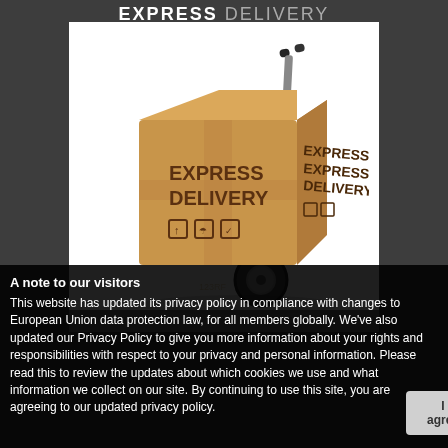EXPRESS DELIVERY
[Figure (illustration): A hand truck dolly carrying two cardboard boxes labeled EXPRESS DELIVERY on a white background]
A note to our visitors
This website has updated its privacy policy in compliance with changes to European Union data protection law, for all members globally. We've also updated our Privacy Policy to give you more information about your rights and responsibilities with respect to your privacy and personal information. Please read this to review the updates about which cookies we use and what information we collect on our site. By continuing to use this site, you are agreeing to our updated privacy policy.